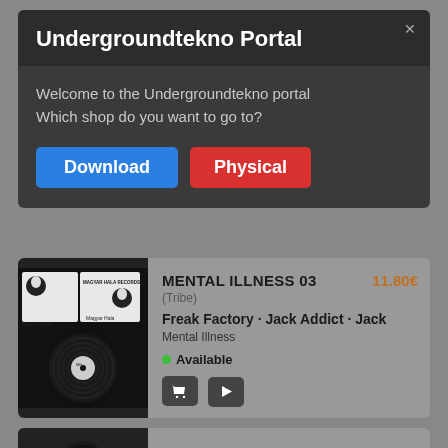Undergroundtekno Portal
Welcome to the Undergroundtekno portal
Which shop do you want to go to?
Download
Physical
[Figure (photo): Album cover for Mental Illness 03 on Magyar Hala Records showing a vinyl record]
MENTAL ILLNESS 03  11.80€
(Tribe)
Freak Factory · Jack Addict · Jack
Mental Illness
● Available